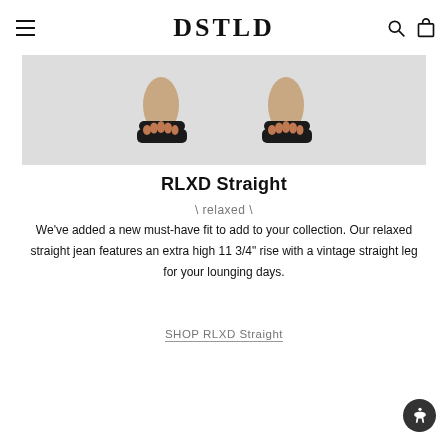DSTLD
[Figure (photo): Product photo showing two feet wearing black leather sandals/mules, cropped at ankle level against a light gray background. Two views/angles of the same shoe.]
RLXD Straight
\ relaxed \
We've added a new must-have fit to add to your collection. Our relaxed straight jean features an extra high 11 3/4" rise with a vintage straight leg for your lounging days.
SHOP RLXD Straight